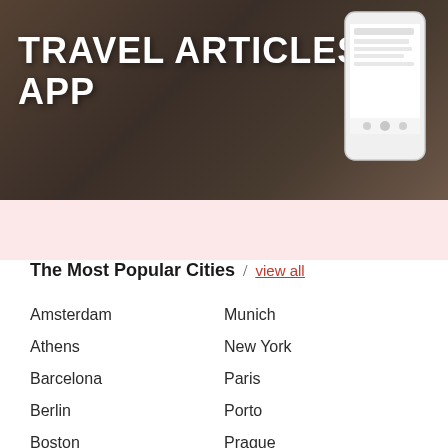[Figure (screenshot): Travel Articles App banner with large bold white text on dark background and a phone mockup on the right side]
The Most Popular Cities / view all
Amsterdam
Munich
Athens
New York
Barcelona
Paris
Berlin
Porto
Boston
Prague
Brussels
Quebec City
Budapest
Rome
Charleston
San Francisco
Chicago
San Juan